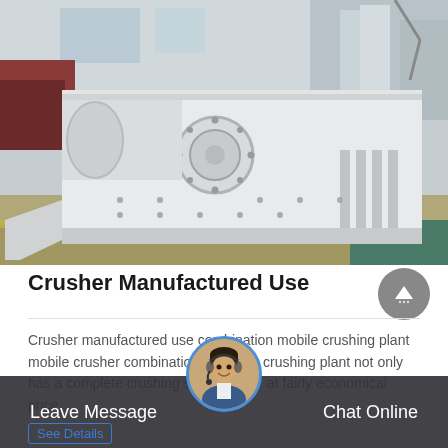[Figure (photo): Industrial crusher machine — a large white-painted heavy steel crusher/screening unit sitting on a factory floor, with windows and steel structures visible in the background.]
Crusher Manufactured Use
Crusher manufactured use combination mobile crushing plant mobile crusher combination crushing plant not only has a complete crushing station at fairly economical price ...
Leave Message   Chat Online